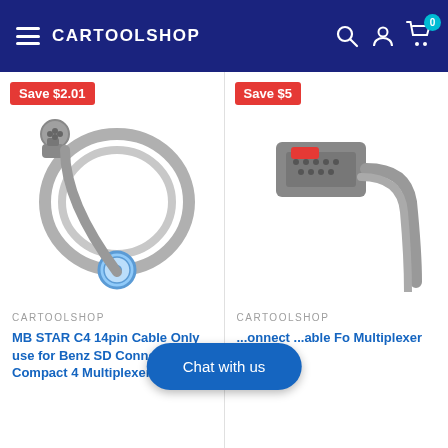CARTOOLSHOP
Save $2.01
[Figure (photo): MB STAR C4 14pin cable coiled connector product photo on white background]
CARTOOLSHOP
MB STAR C4 14pin Cable Only use for Benz SD Connect Compact 4 Multiplexer
Save $5
[Figure (photo): OBD cable connector product photo on white background, partially cropped]
CARTOOLSHOP
...onnect ...able Fo Multiplexer
Chat with us